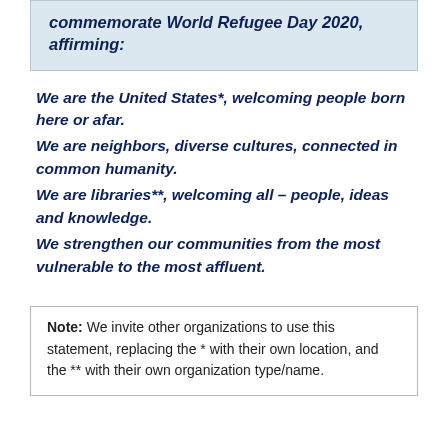commemorate World Refugee Day 2020, affirming:
We are the United States*, welcoming people born here or afar.
We are neighbors, diverse cultures, connected in common humanity.
We are libraries**, welcoming all – people, ideas and knowledge.
We strengthen our communities from the most vulnerable to the most affluent.
Note: We invite other organizations to use this statement, replacing the * with their own location, and the ** with their own organization type/name.